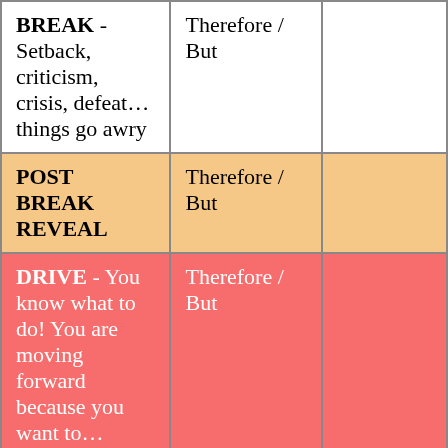| BREAK - Setback, criticism, crisis, defeat… things go awry | Therefore / But |  |
| POST BREAK REVEAL | Therefore / But |  |
| DRIVE - You know what to do! You are moving forward because you want to… | Therefore / But |  |
| ASSAULT - | Therefore / But |  |